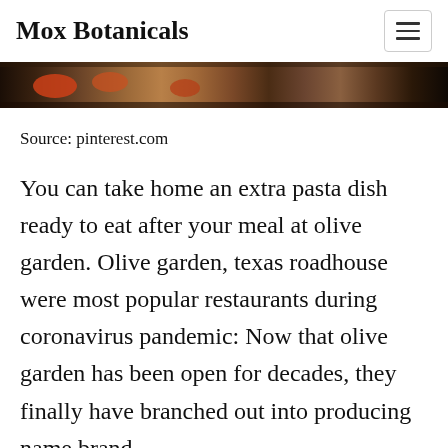Mox Botanicals
[Figure (photo): Cropped photo strip showing food items, appears to be pasta or similar dish with dark background]
Source: pinterest.com
You can take home an extra pasta dish ready to eat after your meal at olive garden. Olive garden, texas roadhouse were most popular restaurants during coronavirus pandemic: Now that olive garden has been open for decades, they finally have branched out into producing name brand